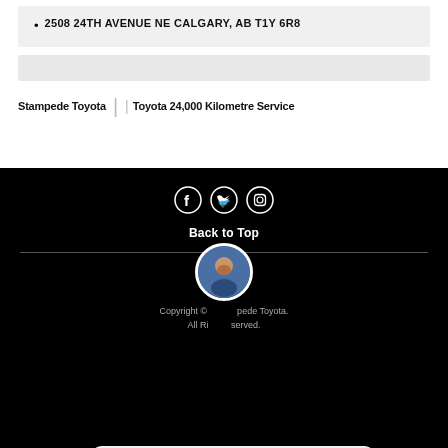2508 24TH AVENUE NE CALGARY, AB T1Y 6R8
Stampede Toyota | Toyota 24,000 Kilometre Service
Back to Top
Copyright © Stampede Toyota. All Rights Reserved.
Any sales questions? Connect with us now!
TEXT
CHAT